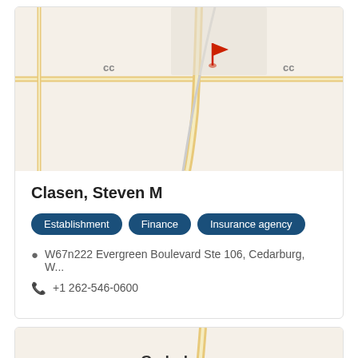[Figure (map): Street map showing road intersections near Cedarburg, WI with a red flag marker pin]
Clasen, Steven M
Establishment | Finance | Insurance agency
W67n222 Evergreen Boulevard Ste 106, Cedarburg, W...
+1 262-546-0600
[Figure (map): Street map showing Cedarburg area roads with a red flag marker pin and city label]